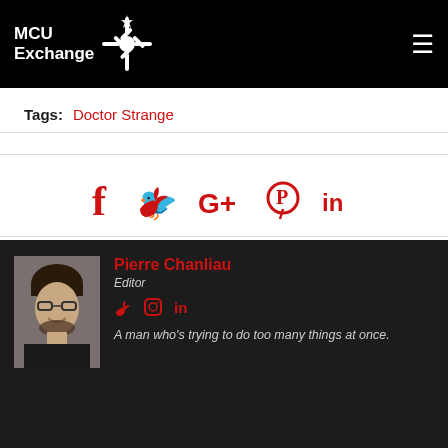MCU Exchange
Tags: Doctor Strange
[Figure (infographic): Social sharing icons: Facebook, Twitter, Google+, Pinterest, LinkedIn in red]
Pierre Chanliau
Editor
A man who's trying to do too many things at once.